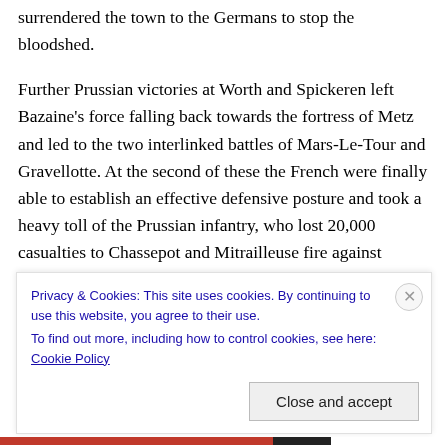surrendered the town to the Germans to stop the bloodshed.
Further Prussian victories at Worth and Spickeren left Bazaine’s force falling back towards the fortress of Metz and led to the two interlinked battles of Mars-Le-Tour and Gravellotte. At the second of these the French were finally able to establish an effective defensive posture and took a heavy toll of the Prussian infantry, who lost 20,000 casualties to Chassepot and Mitrailleuse fire against 12,000 of their own, almost all of those from artillery fire . Although a tactical French victory, Baziane’s army had
Privacy & Cookies: This site uses cookies. By continuing to use this website, you agree to their use.
To find out more, including how to control cookies, see here: Cookie Policy
Close and accept